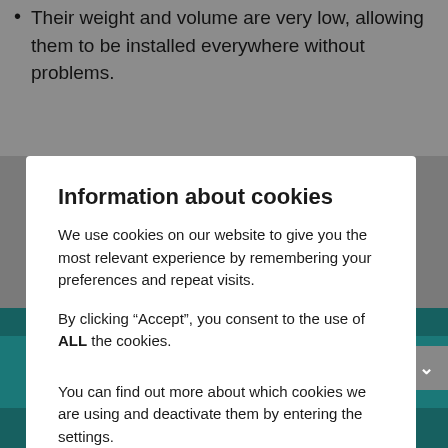Their weight and volume are very low, allowing them to be installed everywhere without problems.
Information about cookies
We use cookies on our website to give you the most relevant experience by remembering your preferences and repeat visits.
By clicking “Accept”, you consent to the use of ALL the cookies.
You can find out more about which cookies we are using and deactivate them by entering the settings.
OK    Setting
e-mail